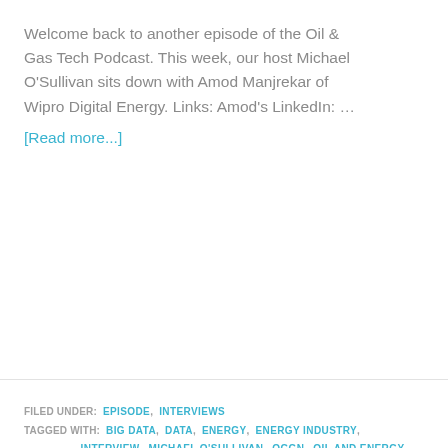Welcome back to another episode of the Oil & Gas Tech Podcast. This week, our host Michael O'Sullivan sits down with Amod Manjrekar of Wipro Digital Energy. Links: Amod's LinkedIn: … [Read more...]
FILED UNDER: EPISODE, INTERVIEWS TAGGED WITH: BIG DATA, DATA, ENERGY, ENERGY INDUSTRY, INTERVIEW, MICHAEL O'SULLIVAN, OGGN, OIL AND ENERGY, OIL AND GAS, OIL AND GAS INDUSTRY, OIL BASINS, OIL INDUSTRY, OILANDGAS, OILFIELD, OILFIELD LIFE, PETROLEUM, PODCAST, TECHNOLOGY
Protecting, Recovering,